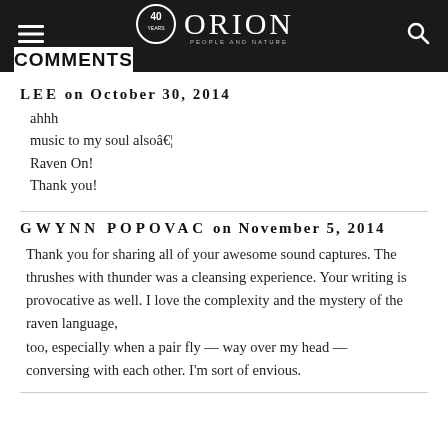ORION — 40 years — PEOPLE AND NATURE
COMMENTS
LEE on October 30, 2014
ahhh
music to my soul alsoâ€¦
Raven On!
Thank you!
GWYNN POPOVAC on November 5, 2014
Thank you for sharing all of your awesome sound captures. The thrushes with thunder was a cleansing experience. Your writing is provocative as well. I love the complexity and the mystery of the raven language, too, especially when a pair fly — way over my head — conversing with each other. I'm sort of envious.